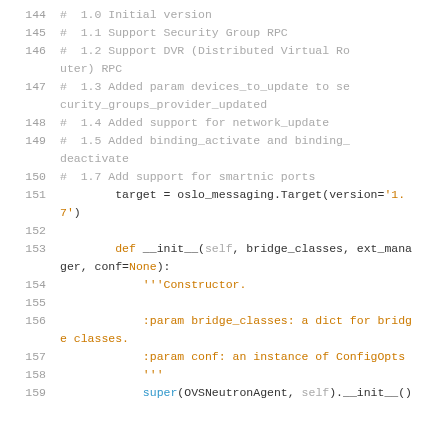[Figure (screenshot): Source code listing showing Python code lines 144-159 with line numbers, comments about version history, and method definitions.]